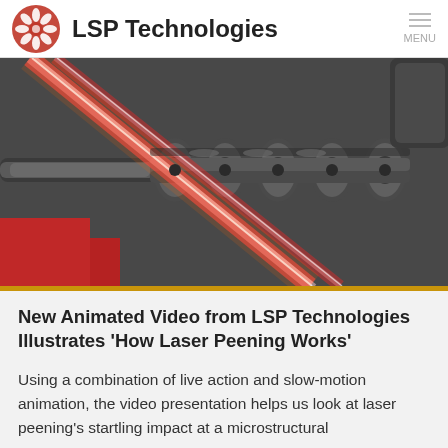LSP Technologies
[Figure (photo): Close-up photo of a crankshaft with laser beams (red/white light streaks) being applied during laser peening process. Background is dark grey with a red machine element visible.]
New Animated Video from LSP Technologies Illustrates ‘How Laser Peening Works’
Using a combination of live action and slow-motion animation, the video presentation helps us look at laser peening's startling impact at a microstructural